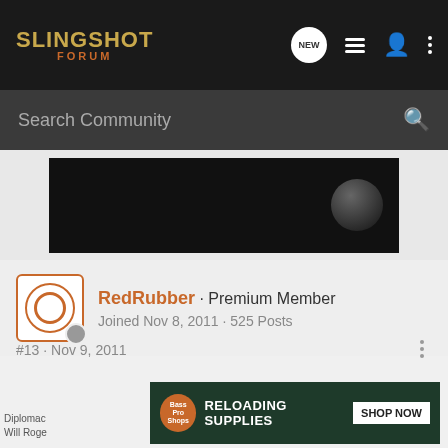SLINGSHOT FORUM
Search Community
[Figure (screenshot): Partial dark product image with a dark ball/sphere visible on the right side]
RedRubber · Premium Member
Joined Nov 8, 2011 · 525 Posts
#13 · Nov 9, 2011
Thanks for posting it Flatband. I needed that!

RR
[Figure (photo): Bass Pro Shops advertisement banner: RELOADING SUPPLIES SHOP NOW]
Diplomac... ock.
Will Roge...